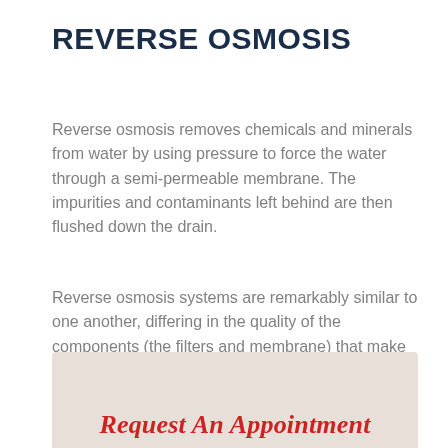REVERSE OSMOSIS
Reverse osmosis removes chemicals and minerals from water by using pressure to force the water through a semi-permeable membrane. The impurities and contaminants left behind are then flushed down the drain.
Reverse osmosis systems are remarkably similar to one another, differing in the quality of the components (the filters and membrane) that make up the system.
Request An Appointment